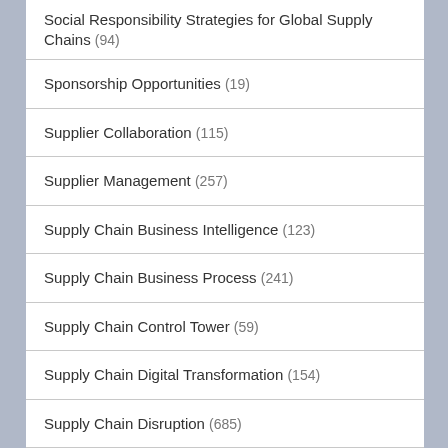Social Responsibility Strategies for Global Supply Chains (94)
Sponsorship Opportunities (19)
Supplier Collaboration (115)
Supplier Management (257)
Supply Chain Business Intelligence (123)
Supply Chain Business Process (241)
Supply Chain Control Tower (59)
Supply Chain Digital Transformation (154)
Supply Chain Disruption (685)